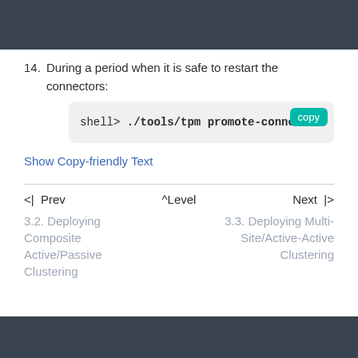14. During a period when it is safe to restart the connectors:
[Figure (screenshot): Code block showing: shell> ./tools/tpm promote-connec with a teal 'copy' button in the top right corner]
Show Copy-friendly Text
<| Prev   ^Level   Next |>
3.2. Deploying Composite Active/Passive Clustering
3.3. Deploying Multi-Site/Active-Active Clustering